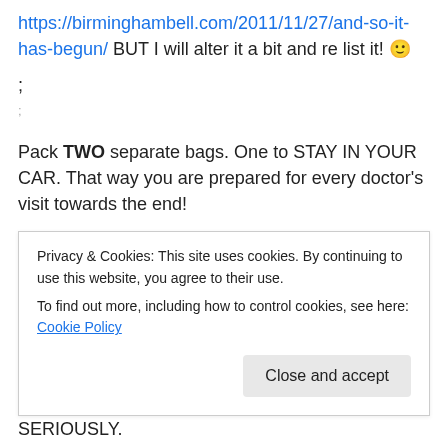https://birminghambell.com/2011/11/27/and-so-it-has-begun/ BUT I will alter it a bit and re list it! 🙂
;
Pack TWO separate bags. One to STAY IN YOUR CAR. That way you are prepared for every doctor's visit towards the end!
What do I keep in the bags?
Well for the bag that stays in the car:
LOTS of onsies, winter fleece outfits (because I liked the
Privacy & Cookies: This site uses cookies. By continuing to use this website, you agree to their use.
To find out more, including how to control cookies, see here: Cookie Policy
SERIOUSLY.